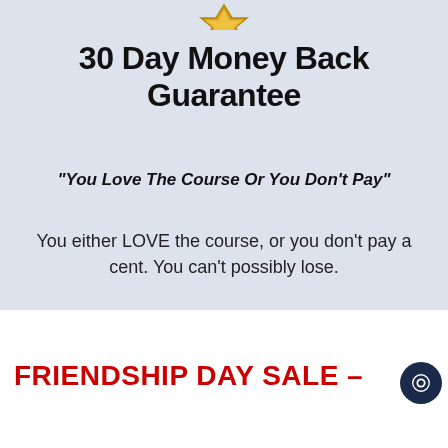[Figure (illustration): Partial gold/yellow badge or seal visible at the top of the page, cropped]
30 Day Money Back Guarantee
“You Love The Course Or You Don’t Pay”
You either LOVE the course, or you don’t pay a cent. You can’t possibly lose.
FRIENDSHIP DAY SALE –